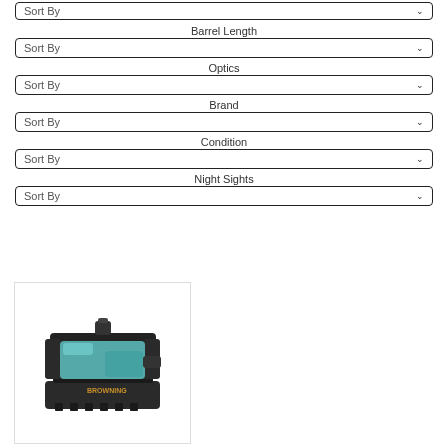Sort By
Barrel Length
Sort By
Optics
Sort By
Brand
Sort By
Condition
Sort By
Night Sights
Sort By
[Figure (photo): A black reflex/red dot optic sight with a teal/blue lens, mounted on a rail base, with a Browning logo visible. The optic is shown at an angle on a white background.]